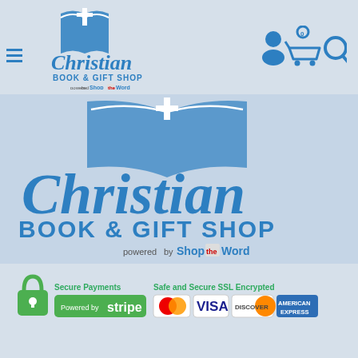[Figure (logo): Christian Book & Gift Shop logo in header - blue open book with cross, cursive Christian text, BOOK & GIFT SHOP, powered by ShopTheWord]
[Figure (logo): Navigation icons - hamburger menu, user icon, shopping cart with 0 badge, search magnifier in blue]
[Figure (logo): Large Christian Book & Gift Shop logo on light blue background - open book graphic, large cursive Christian text, BOOK & GIFT SHOP, powered by ShopTheWord]
[Figure (infographic): Payment section: green padlock, Secure Payments / Powered by stripe badge, Safe and Secure SSL Encrypted with Mastercard, VISA, Discover, American Express card logos]